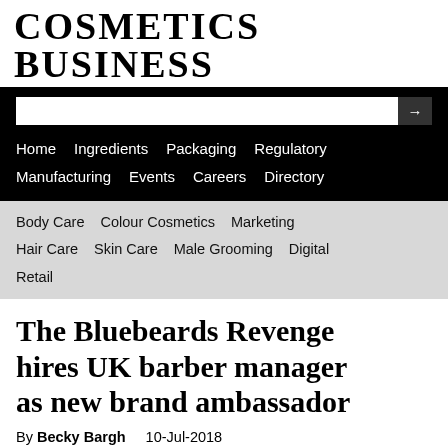COSMETICS BUSINESS
Home   Ingredients   Packaging   Regulatory   Manufacturing   Events   Careers   Directory
Body Care   Colour Cosmetics   Marketing   Hair Care   Skin Care   Male Grooming   Digital   Retail
The Bluebeards Revenge hires UK barber manager as new brand ambassador
By Becky Bargh   10-Jul-2018